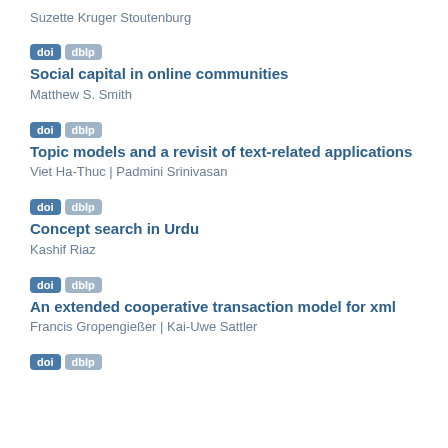Suzette Kruger Stoutenburg
doi  dblp
Social capital in online communities
Matthew S. Smith
doi  dblp
Topic models and a revisit of text-related applications
Viet Ha-Thuc | Padmini Srinivasan
doi  dblp
Concept search in Urdu
Kashif Riaz
doi  dblp
An extended cooperative transaction model for xml
Francis Gropengießer | Kai-Uwe Sattler